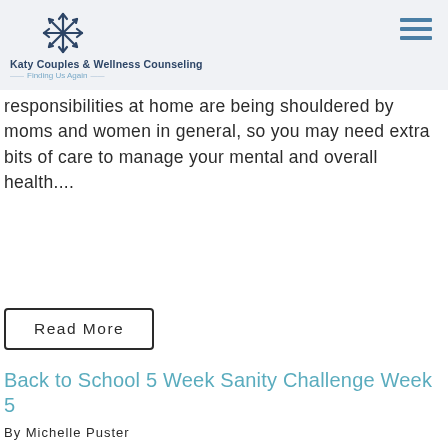Katy Couples & Wellness Counseling — Finding Us Again —
responsibilities at home are being shouldered by moms and women in general, so you may need extra bits of care to manage your mental and overall health....
Read More
Back to School 5 Week Sanity Challenge Week 5
By Michelle Puster